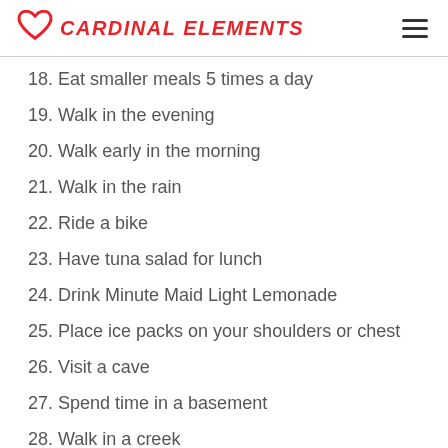CARDINAL ELEMENTS
18. Eat smaller meals 5 times a day
19. Walk in the evening
20. Walk early in the morning
21. Walk in the rain
22. Ride a bike
23. Have tuna salad for lunch
24. Drink Minute Maid Light Lemonade
25. Place ice packs on your shoulders or chest
26. Visit a cave
27. Spend time in a basement
28. Walk in a creek